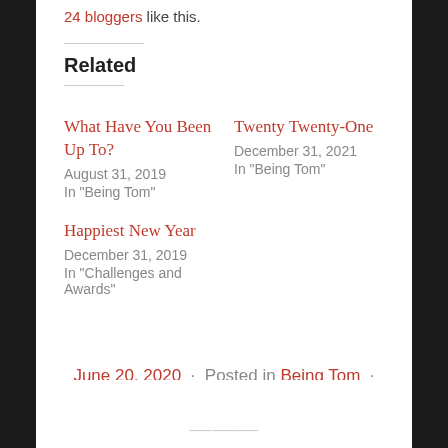24 bloggers like this.
Related
What Have You Been Up To?
August 31, 2019
In "Being Tom"
Twenty Twenty-One
December 31, 2021
In "Being Tom"
Happiest New Year
December 31, 2019
In "Challenges and Awards"
June 20, 2020 · Posted in Being Tom ·